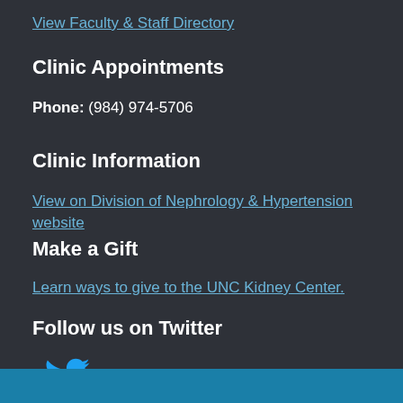View Faculty & Staff Directory
Clinic Appointments
Phone: (984) 974-5706
Clinic Information
View on Division of Nephrology & Hypertension website
Make a Gift
Learn ways to give to the UNC Kidney Center.
Follow us on Twitter
[Figure (logo): Twitter bird logo icon in blue]